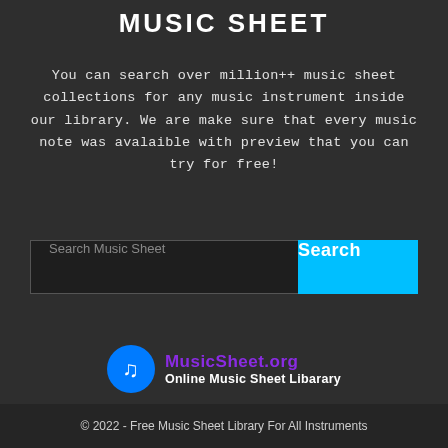MUSIC SHEET
You can search over million++ music sheet collections for any music instrument inside our library. We are make sure that every music note was avalaible with preview that you can try for free!
[Figure (screenshot): Search bar with placeholder text 'Search Music Sheet' and a cyan 'Search' button]
[Figure (logo): MusicSheet.org logo with blue circle music note icon, purple bold text 'MusicSheet.org' and white subtitle 'Online Music Sheet Libarary']
© 2022 - Free Music Sheet Library For All Instruments